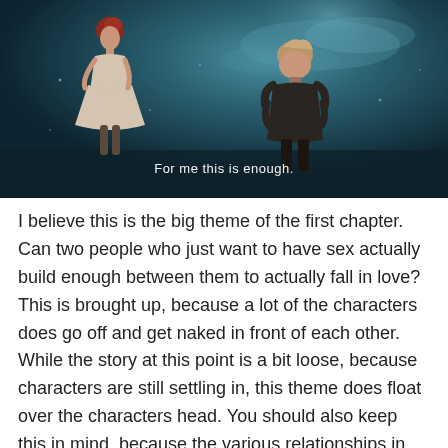[Figure (screenshot): Anime screenshot showing two characters standing apart against a dark teal/blue atmospheric background. One character (female, wearing a dress with red hair) stands to the left, another character (male, with lighter hair) is seen from behind on the right. A subtitle reads: 'For me this is enough.']
I believe this is the big theme of the first chapter. Can two people who just want to have sex actually build enough between them to actually fall in love? This is brought up, because a lot of the characters does go off and get naked in front of each other. While the story at this point is a bit loose, because characters are still settling in, this theme does float over the characters head. You should also keep this in mind, because the various relationships in the first